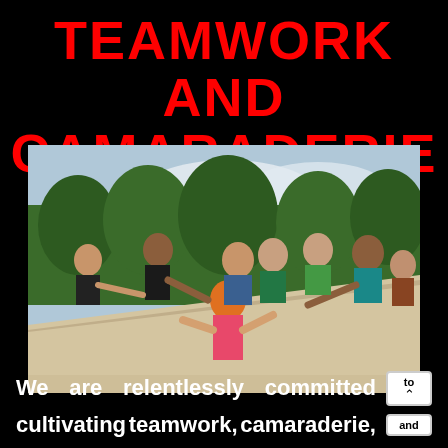TEAMWORK AND CAMARADERIE
[Figure (photo): Group of athletes at an obstacle course race helping each other climb over a large smooth ramp/wall. Several people at the top are reaching down to pull up others who are struggling to get up. Participants wear colorful athletic clothing. Background shows trees and cloudy sky.]
We are relentlessly committed to cultivating teamwork, camaraderie, and